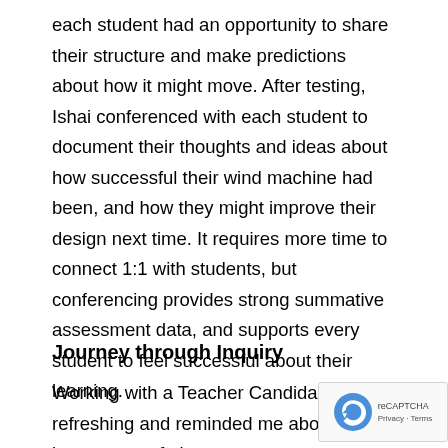each student had an opportunity to share their structure and make predictions about how it might move. After testing, Ishai conferenced with each student to document their thoughts and ideas about how successful their wind machine had been, and how they might improve their design next time. It requires more time to connect 1:1 with students, but conferencing provides strong summative assessment data, and supports every student to feel successful about their learning.
Journey through Inquiry
Working with a Teacher Candidate was refres... and reminded me about the importance of play...